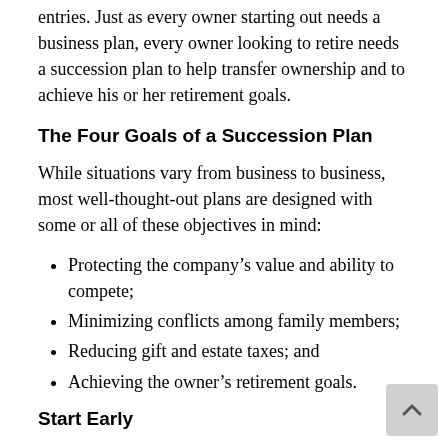entries. Just as every owner starting out needs a business plan, every owner looking to retire needs a succession plan to help transfer ownership and to achieve his or her retirement goals.
The Four Goals of a Succession Plan
While situations vary from business to business, most well-thought-out plans are designed with some or all of these objectives in mind:
Protecting the company’s value and ability to compete;
Minimizing conflicts among family members;
Reducing gift and estate taxes; and
Achieving the owner’s retirement goals.
Start Early
Starting work early on a succession plan may help ensure a smooth change of ownership. An early start